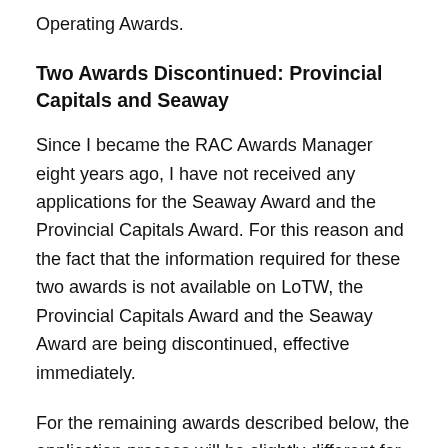Operating Awards.
Two Awards Discontinued: Provincial Capitals and Seaway
Since I became the RAC Awards Manager eight years ago, I have not received any applications for the Seaway Award and the Provincial Capitals Award. For this reason and the fact that the information required for these two awards is not available on LoTW, the Provincial Capitals Award and the Seaway Award are being discontinued, effective immediately.
For the remaining awards described below, the application process will be slightly different for each award, but all will rely on the fact that